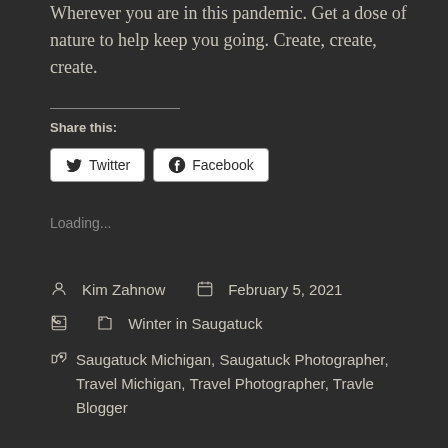Wherever you are in this pandemic. Get a dose of nature to help keep you going. Create, create, create.
Share this:
Twitter
Facebook
Loading...
Kim Zahnow   February 5, 2021
Winter in Saugatuck
Saugatuck Michigan, Saugatuck Photographer, Travel Michigan, Travel Photographer, Travle Blogger